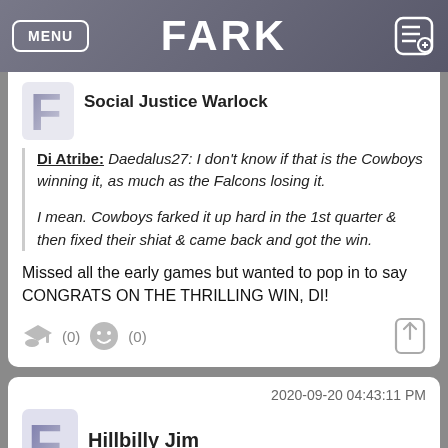FARK
Social Justice Warlock
Di Atribe: Daedalus27: I don't know if that is the Cowboys winning it, as much as the Falcons losing it.

I mean. Cowboys farked it up hard in the 1st quarter & then fixed their shiat & came back and got the win.
Missed all the early games but wanted to pop in to say CONGRATS ON THE THRILLING WIN, DI!
2020-09-20 04:43:11 PM
Hillbilly Jim